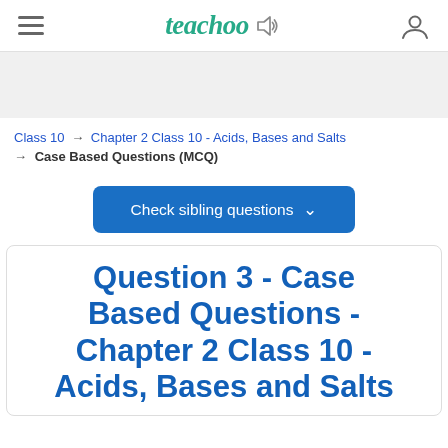teachoo
Class 10 → Chapter 2 Class 10 - Acids, Bases and Salts → Case Based Questions (MCQ)
Check sibling questions
Question 3 - Case Based Questions - Chapter 2 Class 10 - Acids, Bases and Salts